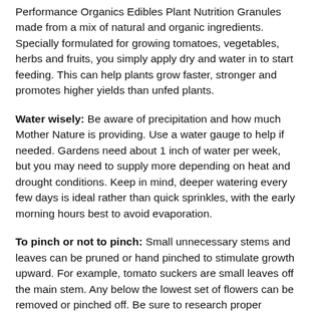Performance Organics Edibles Plant Nutrition Granules made from a mix of natural and organic ingredients. Specially formulated for growing tomatoes, vegetables, herbs and fruits, you simply apply dry and water in to start feeding. This can help plants grow faster, stronger and promotes higher yields than unfed plants.
Water wisely: Be aware of precipitation and how much Mother Nature is providing. Use a water gauge to help if needed. Gardens need about 1 inch of water per week, but you may need to supply more depending on heat and drought conditions. Keep in mind, deeper watering every few days is ideal rather than quick sprinkles, with the early morning hours best to avoid evaporation.
To pinch or not to pinch: Small unnecessary stems and leaves can be pruned or hand pinched to stimulate growth upward. For example, tomato suckers are small leaves off the main stem. Any below the lowest set of flowers can be removed or pinched off. Be sure to research proper trimming per plant variety as each one is unique. For example, when a basil plant blooms at the top, you pinch it off so that the leaves stay intact. However, you would never pinch tomato flowers